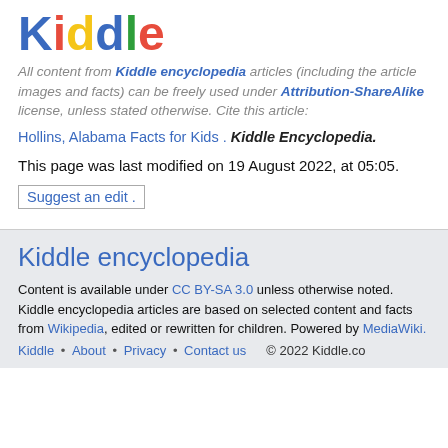[Figure (logo): Kiddle logo with multicolored letters: K(blue), i(red), d(yellow), d(blue), l(green), e(red)]
All content from Kiddle encyclopedia articles (including the article images and facts) can be freely used under Attribution-ShareAlike license, unless stated otherwise. Cite this article:
Hollins, Alabama Facts for Kids. Kiddle Encyclopedia.
This page was last modified on 19 August 2022, at 05:05.
Suggest an edit .
Kiddle encyclopedia
Content is available under CC BY-SA 3.0 unless otherwise noted. Kiddle encyclopedia articles are based on selected content and facts from Wikipedia, edited or rewritten for children. Powered by MediaWiki.
Kiddle • About • Privacy • Contact us © 2022 Kiddle.co